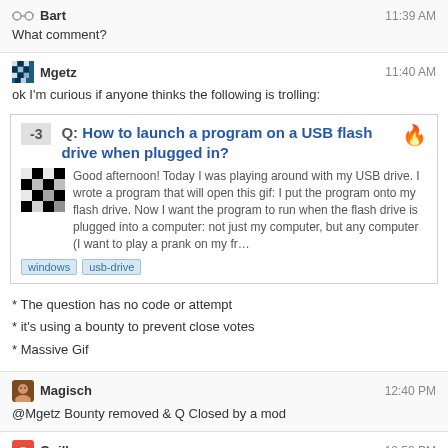Bart  11:39 AM
What comment?
Mgetz  11:40 AM
ok I'm curious if anyone thinks the following is trolling:
[Figure (screenshot): Question card with score -3: Q: How to launch a program on a USB flash drive when plugged in? with body text and tags windows, usb-drive]
* The question has no code or attempt
* it's using a bounty to prevent close votes
* Massive Gif
Magisch  12:40 PM
@Mgetz Bounty removed & Q Closed by a mod
Quill  12:50 PM
[Figure (screenshot): Question card with score 2: Q: Japanese Language — Top User Swag! with body text about congratulating top 72 users]